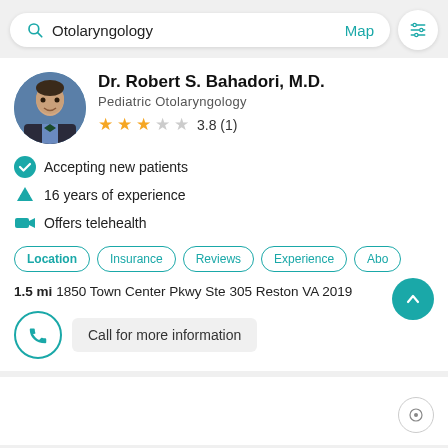Otolaryngology   Map
Dr. Robert S. Bahadori, M.D.
Pediatric Otolaryngology
3.8 (1)
Accepting new patients
16 years of experience
Offers telehealth
Location  Insurance  Reviews  Experience  Abo
1.5 mi 1850 Town Center Pkwy Ste 305 Reston VA 2019
Call for more information